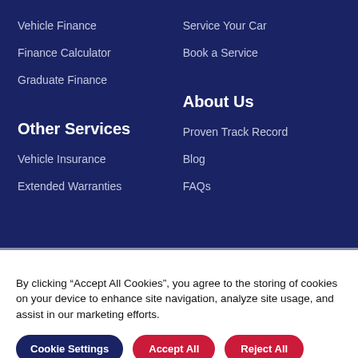Vehicle Finance
Finance Calculator
Graduate Finance
Other Services
Vehicle Insurance
Extended Warranties
Service Your Car
Book a Service
About Us
Proven Track Record
Blog
FAQs
By clicking “Accept All Cookies”, you agree to the storing of cookies on your device to enhance site navigation, analyze site usage, and assist in our marketing efforts.
Cookie Settings | Accept All | Reject All